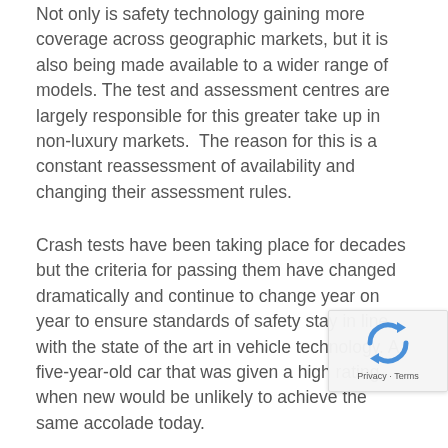Not only is safety technology gaining more coverage across geographic markets, but it is also being made available to a wider range of models. The test and assessment centres are largely responsible for this greater take up in non-luxury markets.  The reason for this is a constant reassessment of availability and changing their assessment rules.
Crash tests have been taking place for decades but the criteria for passing them have changed dramatically and continue to change year on year to ensure standards of safety stay in line with the state of the art in vehicle technology. A five-year-old car that was given a high rating when new would be unlikely to achieve the same accolade today.